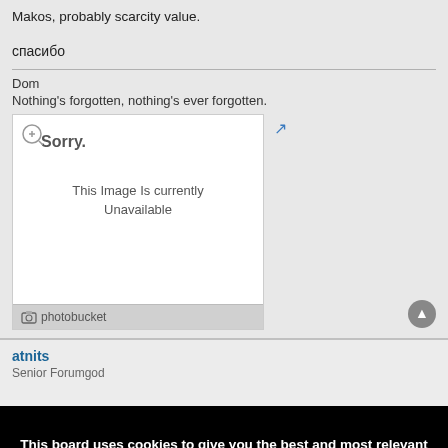Makos, probably scarcity value.
спасибо
Dom
Nothing's forgotten, nothing's ever forgotten.
[Figure (screenshot): Photobucket image unavailable placeholder with zoom icon, 'Sorry. This Image Is currently Unavailable' text, and photobucket branding bar]
atnits
Senior Forumgod
This board uses cookies to give you the best and most relevant experience. In order to use this board it means that you need accept this policy. You can find out more about the cookies used on this board by clicking the "Policies" link at the bottom of the page.
🍪 Accept Cookies